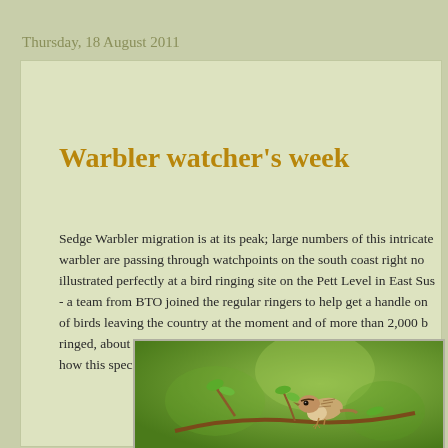Thursday, 18 August 2011
Warbler watcher’s week
Sedge Warbler migration is at its peak; large numbers of this intricate warbler are passing through watchpoints on the south coast right now, illustrated perfectly at a bird ringing site on the Pett Level in East Sussex - a team from BTO joined the regular ringers to help get a handle on of birds leaving the country at the moment and of more than 2,000 b ringed, about 25% were Sedge Warblers. The Birdtrack reporting rat how this species is flooding out of the UK.
[Figure (photo): A Sedge Warbler bird perched on a branch with green foliage in the background]